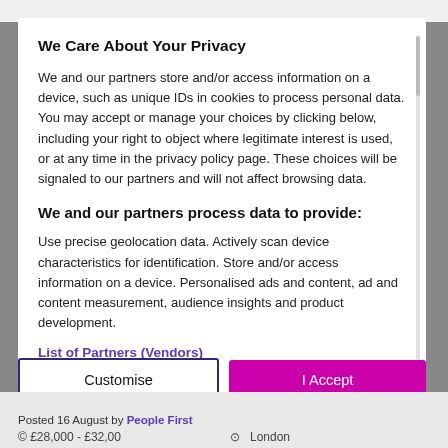We Care About Your Privacy
We and our partners store and/or access information on a device, such as unique IDs in cookies to process personal data. You may accept or manage your choices by clicking below, including your right to object where legitimate interest is used, or at any time in the privacy policy page. These choices will be signaled to our partners and will not affect browsing data.
We and our partners process data to provide:
Use precise geolocation data. Actively scan device characteristics for identification. Store and/or access information on a device. Personalised ads and content, ad and content measurement, audience insights and product development.
List of Partners (Vendors)
Posted 16 August by People First
© £28,000 - £32,00      London